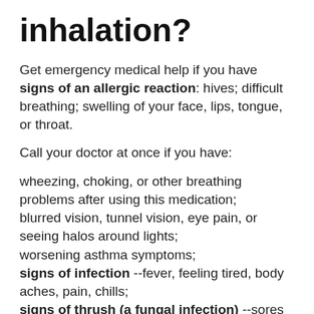inhalation?
Get emergency medical help if you have signs of an allergic reaction: hives; difficult breathing; swelling of your face, lips, tongue, or throat.
Call your doctor at once if you have:
wheezing, choking, or other breathing problems after using this medication;
blurred vision, tunnel vision, eye pain, or seeing halos around lights;
worsening asthma symptoms;
signs of infection --fever, feeling tired, body aches, pain, chills;
signs of thrush (a fungal infection) --sores or white patches in your mouth or throat, trouble swallowing; or
symptoms of low adrenal gland hormones --extreme tiredness or weakness, nausea, vomiting, a light...